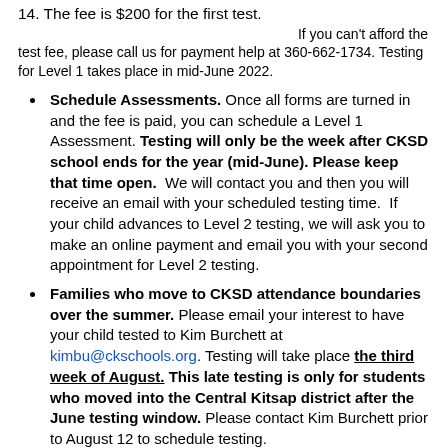14. The fee is $200 for the first test.
If you can't afford the test fee, please call us for payment help at 360-662-1734. Testing for Level 1 takes place in mid-June 2022.
Schedule Assessments. Once all forms are turned in and the fee is paid, you can schedule a Level 1 Assessment. Testing will only be the week after CKSD school ends for the year (mid-June). Please keep that time open. We will contact you and then you will receive an email with your scheduled testing time. If your child advances to Level 2 testing, we will ask you to make an online payment and email you with your second appointment for Level 2 testing.
Families who move to CKSD attendance boundaries over the summer. Please email your interest to have your child tested to Kim Burchett at kimbu@ckschools.org. Testing will take place the third week of August. This late testing is only for students who moved into the Central Kitsap district after the June testing window. Please contact Kim Burchett prior to August 12 to schedule testing.
Level 1 Testing